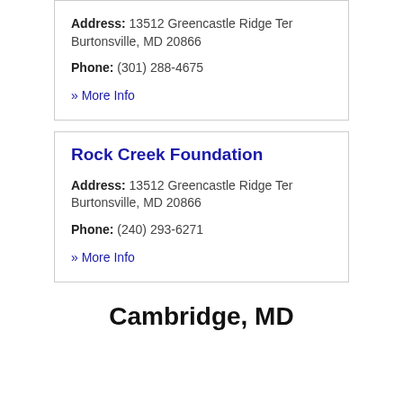Address: 13512 Greencastle Ridge Ter Burtonsville, MD 20866
Phone: (301) 288-4675
» More Info
Rock Creek Foundation
Address: 13512 Greencastle Ridge Ter Burtonsville, MD 20866
Phone: (240) 293-6271
» More Info
Cambridge, MD